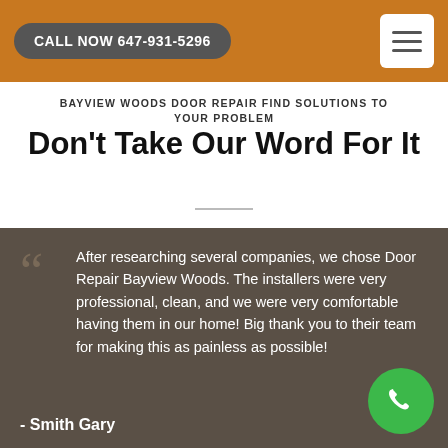CALL NOW 647-931-5296
BAYVIEW WOODS DOOR REPAIR FIND SOLUTIONS TO YOUR PROBLEM
Don't Take Our Word For It
After researching several companies, we chose Door Repair Bayview Woods. The installers were very professional, clean, and we were very comfortable having them in our home! Big thank you to their team for making this as painless as possible!
- Smith Gary